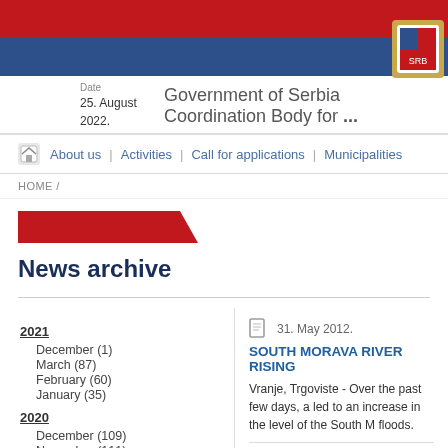Government of Serbia Coordination Body for ...
Date
25. August 2022.
About us | Activities | Call for applications | Municipalities
HOME /
News archive
2021
December (1)
March (87)
February (60)
January (35)
2020
December (109)
November (111)
October (109)
31. May 2012.
SOUTH MORAVA RIVER RISING
Vranje, Trgoviste - Over the past few days, a led to an increase in the level of the South M floods.
25. May 2012.